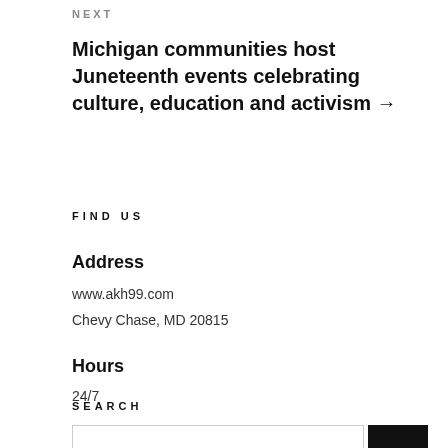NEXT
Michigan communities host Juneteenth events celebrating culture, education and activism →
FIND US
Address
www.akh99.com
Chevy Chase, MD 20815
Hours
24/7
SEARCH